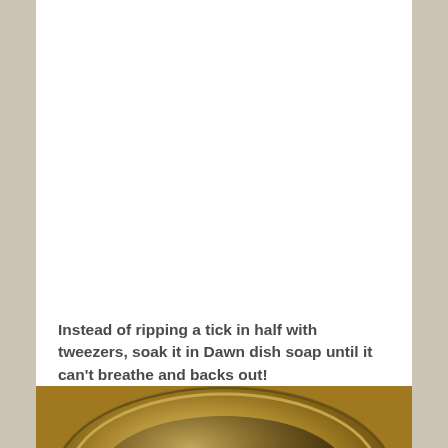Instead of ripping a tick in half with tweezers, soak it in Dawn dish soap until it can't breathe and backs out!
[Figure (photo): Close-up photo of a golden/bronze colored circular object, partially visible at the bottom of the page.]